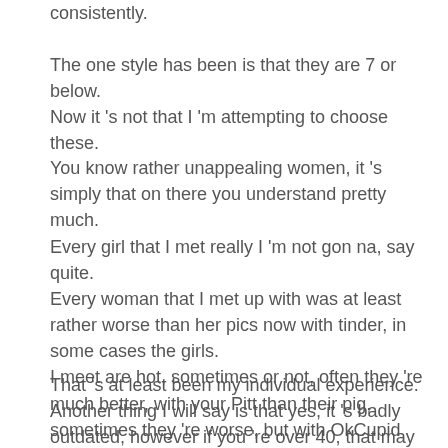consistently.
The one style has been is that they are 7 or below. Now it 's not that I 'm attempting to choose these.
You know rather unappealing women, it 's simply that on there you understand pretty much.
Every girl that I met really I 'm not gon na, say quite. Every woman that I met up with was at least rather worse than her pics now with tinder, in some cases the girls. I meet are hot, sometimes or not, often they 're much better, with your Pitt than their pig, sometimes they 're worse, but with OkCupid simply appears that every single chick is even worse than her photos.
That 's at least been my individual experience. Another thing I will say is that yes, it 's badly outdated, however if you 're over 40, that may be the exception, because you